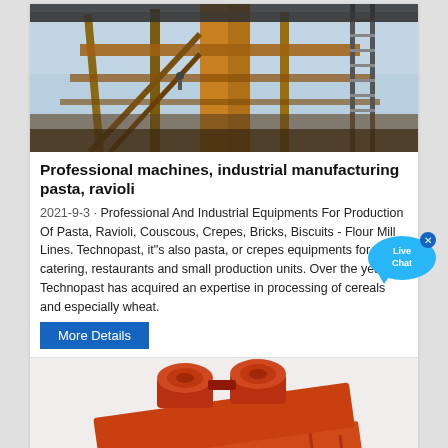[Figure (photo): Industrial manufacturing equipment — steel framework, conveyor structures, yellow metal supports, ladders against blue sky]
Professional machines, industrial manufacturing pasta, ravioli
2021-9-3 · Professional And Industrial Equipments For Production Of Pasta, Ravioli, Couscous, Crepes, Bricks, Biscuits - Flour Mill Lines. Technopast, it"s also pasta, or crepes equipments for catering, restaurants and small production units. Over the years, Technopast has acquired an expertise in processing of cereals and especially wheat.
More Details
[Figure (photo): Large orange industrial vibrating screen / sieving machine with two motors on top, heavy-duty equipment painted in rust-orange color]